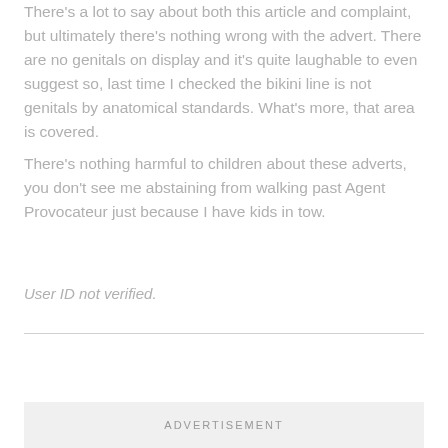There's a lot to say about both this article and complaint, but ultimately there's nothing wrong with the advert. There are no genitals on display and it's quite laughable to even suggest so, last time I checked the bikini line is not genitals by anatomical standards. What's more, that area is covered.
There's nothing harmful to children about these adverts, you don't see me abstaining from walking past Agent Provocateur just because I have kids in tow.
User ID not verified.
ADVERTISEMENT